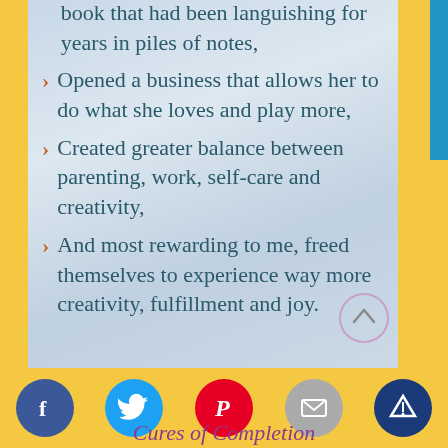book that had been languishing for years in piles of notes,
Opened a business that allows her to do what she loves and play more,
Created greater balance between parenting, work, self-care and creativity,
And most rewarding to me, freed themselves to experience way more creativity, fulfillment and joy.
Cures of Completion